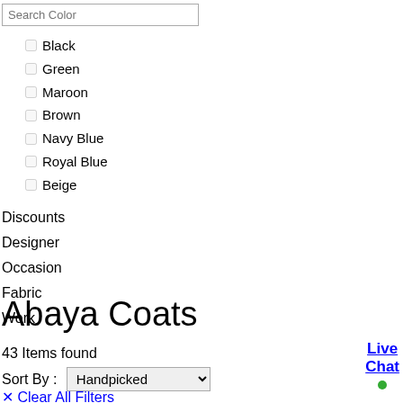Search Color
Black
Green
Maroon
Brown
Navy Blue
Royal Blue
Beige
Discounts
Designer
Occasion
Fabric
Work
Abaya Coats
43 Items found
Sort By : Handpicked
✕ Clear All Filters
Live Chat